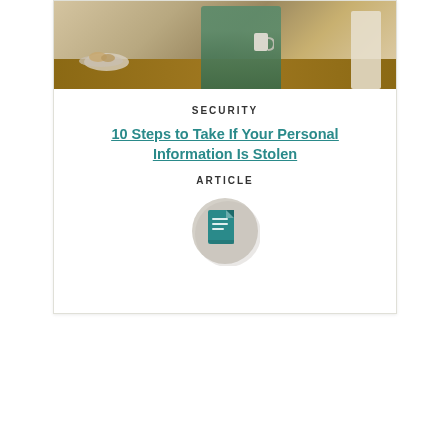[Figure (photo): Person sitting at a dining table using a phone, with a plate of bread and a white chair visible in background]
SECURITY
10 Steps to Take If Your Personal Information Is Stolen
ARTICLE
[Figure (illustration): Article icon: document/note icon on a circular grey background]